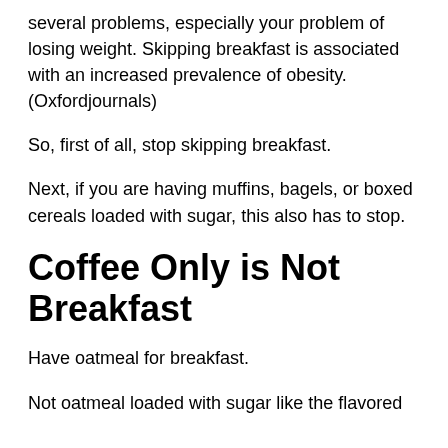several problems, especially your problem of losing weight. Skipping breakfast is associated with an increased prevalence of obesity. (Oxfordjournals)
So, first of all, stop skipping breakfast.
Next, if you are having muffins, bagels, or boxed cereals loaded with sugar, this also has to stop.
Coffee Only is Not Breakfast
Have oatmeal for breakfast.
Not oatmeal loaded with sugar like the flavored